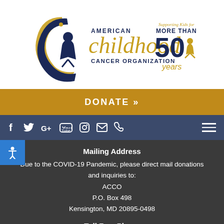[Figure (logo): American Childhood Cancer Organization logo with '50 years' badge and tagline 'Supporting Kids for MORE THAN']
DONATE »
[Figure (screenshot): Navigation bar with social media icons: Facebook, Twitter, Google+, YouTube, Instagram, Email, Phone, and hamburger menu]
[Figure (other): Accessibility icon button (blue background with person icon)]
Mailing Address
Due to the COVID-19 Pandemic, please direct mail donations and inquiries to:
ACCO
P.O. Box 498
Kensington, MD 20895-0498
Toll Free Phone
855-858-2226